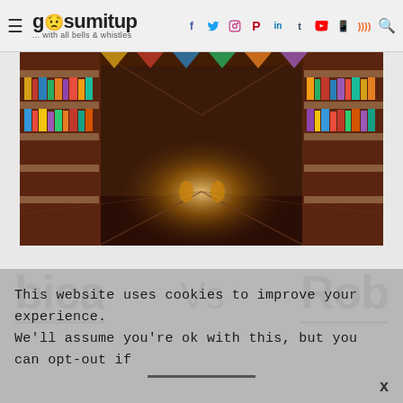gosumitup — with all bells & whistles | social icons: Facebook, Twitter, Instagram, Pinterest, LinkedIn, Tumblr, YouTube, WhatsApp, RSS | search
[Figure (illustration): Animated scene of a library-like room with wooden shelves filled with colorful books and items, a glowing center aisle, rendered in warm amber/brown tones resembling an animated movie still.]
...bica  Vs  Rob...
This website uses cookies to improve your experience. We'll assume you're ok with this, but you can opt-out if